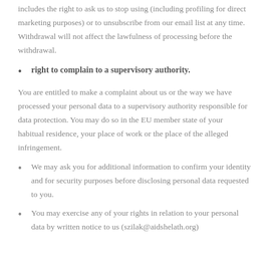includes the right to ask us to stop using (including profiling for direct marketing purposes) or to unsubscribe from our email list at any time. Withdrawal will not affect the lawfulness of processing before the withdrawal.
right to complain to a supervisory authority.
You are entitled to make a complaint about us or the way we have processed your personal data to a supervisory authority responsible for data protection. You may do so in the EU member state of your habitual residence, your place of work or the place of the alleged infringement.
We may ask you for additional information to confirm your identity and for security purposes before disclosing personal data requested to you.
You may exercise any of your rights in relation to your personal data by written notice to us (szilak@aidshelath.org)